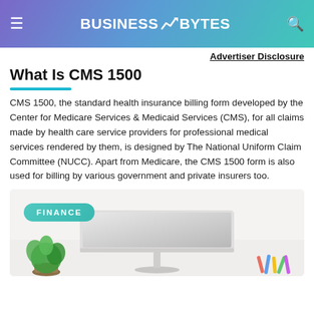BUSINESS BYTES
Advertiser Disclosure
What Is CMS 1500
CMS 1500, the standard health insurance billing form developed by the Center for Medicare Services & Medicaid Services (CMS), for all claims made by health care service providers for professional medical services rendered by them, is designed by The National Uniform Claim Committee (NUCC). Apart from Medicare, the CMS 1500 form is also used for billing by various government and private insurers too.
[Figure (photo): Office desk scene with a monitor, green plant, and scattered colorful items. A teal 'FINANCE' badge overlays the top-left.]